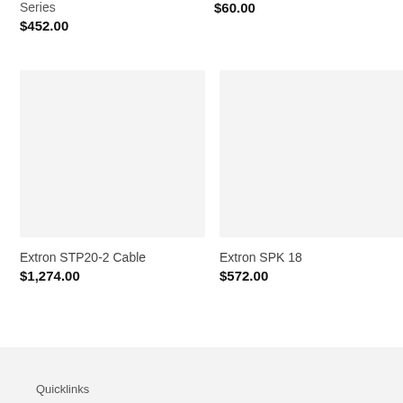Series
$452.00
$60.00
[Figure (photo): Product image placeholder for Extron STP20-2 Cable, light gray box]
[Figure (photo): Product image placeholder for Extron SPK 18, light gray box]
Extron STP20-2 Cable
$1,274.00
Extron SPK 18
$572.00
Quicklinks